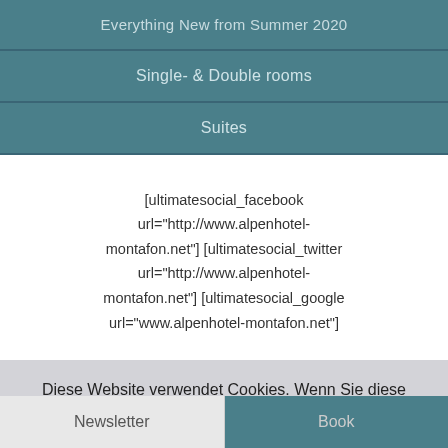Everything New from Summer 2020
Single- & Double rooms
Suites
[ultimatesocial_facebook url="http://www.alpenhotel-montafon.net"] [ultimatesocial_twitter url="http://www.alpenhotel-montafon.net"] [ultimatesocial_google url="www.alpenhotel-montafon.net"]
Diese Website verwendet Cookies. Wenn Sie diese Website weiterhin nutzen, stimmen Sie der Verwendung von Cookies zu.
Akzeptieren
mehr erfahren
Newsletter | Book